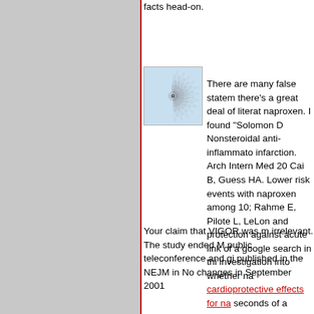facts head-on.
[Figure (illustration): Circular spiral/geometric pattern thumbnail image with concentric rings forming a flower-like design, light blue background]
There are many false statements there's a great deal of literature naproxen. I found "Solomon D... Nonsteroidal anti-inflammatory... infarction. Arch Intern Med 20... Cai B, Guess HA. Lower risk events with naproxen among 10; Rahme E, Pilote L, LeLon... and protection against acute link of a google search in thi... investigation into whether na... cardioprotective effects for na... seconds of a google search.
Your claim that VIGOR was m... irrelevant. The study ended M... public teleconference and gi... published in the NEJM in No... changes in September 2001